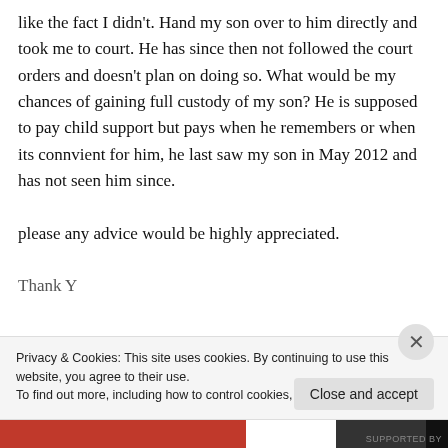like the fact I didn't. Hand my son over to him directly and took me to court. He has since then not followed the court orders and doesn't plan on doing so. What would be my chances of gaining full custody of my son? He is supposed to pay child support but pays when he remembers or when its connvient for him, he last saw my son in May 2012 and has not seen him since.

please any advice would be highly appreciated.

Thank Y...
Privacy & Cookies: This site uses cookies. By continuing to use this website, you agree to their use.
To find out more, including how to control cookies, see here: Cookie Policy